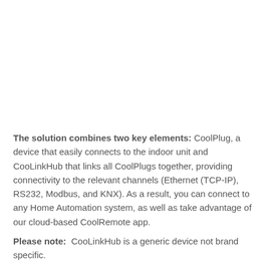The solution combines two key elements: CoolPlug, a device that easily connects to the indoor unit and CooLinkHub that links all CoolPlugs together, providing connectivity to the relevant channels (Ethernet (TCP-IP), RS232, Modbus, and KNX). As a result, you can connect to any Home Automation system, as well as take advantage of our cloud-based CoolRemote app.
Please note: CooLinkHub is a generic device not brand specific.